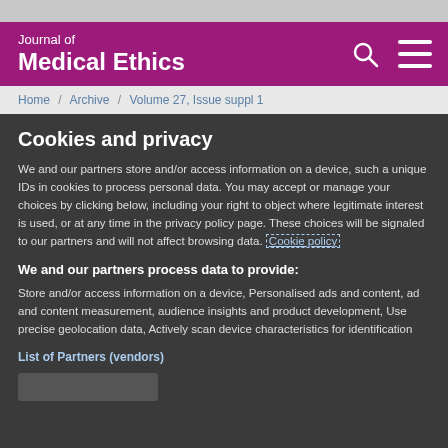Journal of Medical Ethics
Home / Archive / Volume 27, Issue suppl 1
Cookies and privacy
We and our partners store and/or access information on a device, such a unique IDs in cookies to process personal data. You may accept or manage your choices by clicking below, including your right to object where legitimate interest is used, or at any time in the privacy policy page. These choices will be signaled to our partners and will not affect browsing data. Cookie policy
We and our partners process data to provide:
Store and/or access information on a device, Personalised ads and content, ad and content measurement, audience insights and product development, Use precise geolocation data, Actively scan device characteristics for identification
List of Partners (vendors)